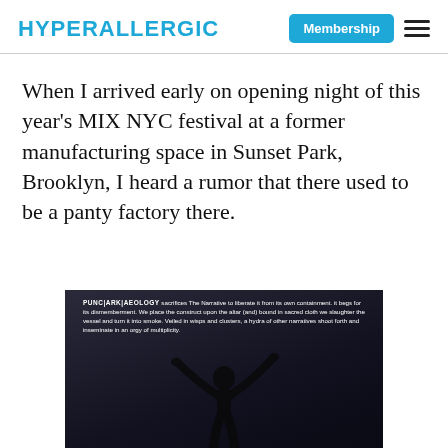HYPERALLERGIC | Membership | ☰
When I arrived early on opening night of this year's MIX NYC festival at a former manufacturing space in Sunset Park, Brooklyn, I heard a rumor that there used to be a panty factory there.
[Figure (photo): Dark photo showing a silhouette of a person with arms raised against a dark background, with projected text reading about PUNC|ARK|AEOLOGY sacrificing The Narrative to liberate it from its own containment, begging for its dismemberment, placing the construct upon the altar bound in sacred cloth, slaughtering the vessel and turning it into smoke, veiled in wisps and clusters, a hydra of other narratives shoot forth and inseminate in an orgy of multiplicity.]